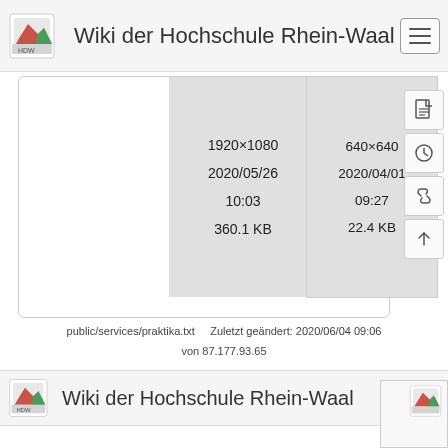Wiki der Hochschule Rhein-Waal
[Figure (screenshot): File thumbnail card showing two image metadata boxes: left box shows 1920×1080, 2020/05/26 10:03, 360.1 KB; right box shows 640×640, 2020/04/01 09:27, 22.4 KB]
[Figure (infographic): Right sidebar with four icon buttons: document, history, link, and up-arrow]
public/services/praktika.txt   Zuletzt geändert: 2020/06/04 09:06 von 87.177.93.65
Wiki der Hochschule Rhein-Waal
[Figure (screenshot): Bottom right mini thumbnail with logo icon]